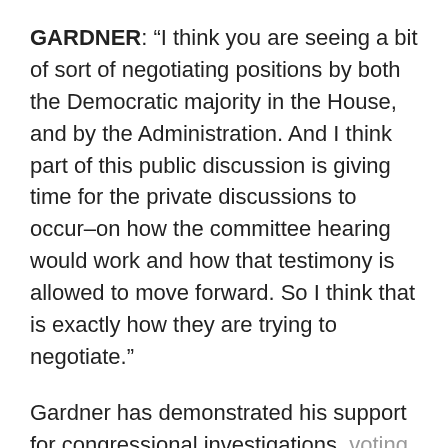GARDNER: “I think you are seeing a bit of sort of negotiating positions by both the Democratic majority in the House, and by the Administration. And I think part of this public discussion is giving time for the private discussions to occur–on how the committee hearing would work and how that testimony is allowed to move forward. So I think that is exactly how they are trying to negotiate.”
Gardner has demonstrated his support for congressional investigations, voting in 2011 to subpoena White House documents relating to Solyndra, a solar company, even though the Obama White House indicated it was producing documents for the House committee.
Gardner’s office didn’t return a call seeking to know what he thought Congress should do if it turns out not to be a